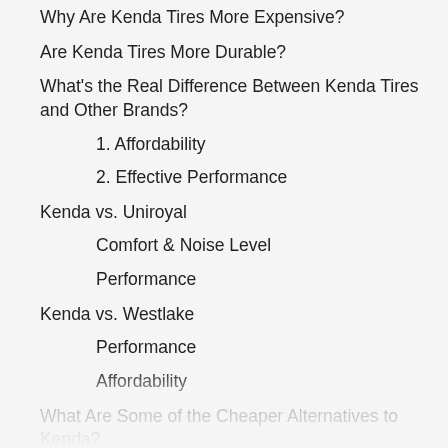Why Are Kenda Tires More Expensive?
Are Kenda Tires More Durable?
What's the Real Difference Between Kenda Tires and Other Brands?
1. Affordability
2. Effective Performance
Kenda vs. Uniroyal
Comfort & Noise Level
Performance
Kenda vs. Westlake
Performance
Affordability
What Are Some of the Cheaper Alternatives to Kenda?
1. Westlake
2. Laufenn
How Much Should You Spend On Four New Tires?